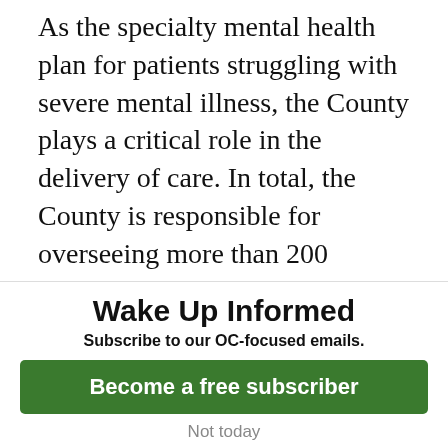As the specialty mental health plan for patients struggling with severe mental illness, the County plays a critical role in the delivery of care. In total, the County is responsible for overseeing more than 200 programs and services, ranging from case management to crisis intervention.
The meeting will accept a wide range of public testimony and will be held in the Board of Supervisors Hearing Room to accommodate speakers. Anyone is welcome
Wake Up Informed
Subscribe to our OC-focused emails.
Become a free subscriber
Not today